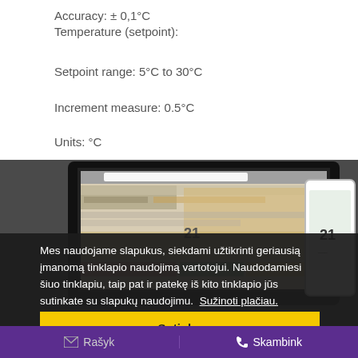Accuracy: ± 0,1°C
Temperature (setpoint):
Setpoint range: 5°C to 30°C
Increment measure: 0.5°C
Units: °C
[Figure (screenshot): Screenshot of a web application shown on a laptop and mobile phone mockup]
Mes naudojame slapukus, siekdami užtikrinti geriausią įmanomą tinklapio naudojimą vartotojui. Naudodamiesi šiuo tinklapiu, taip pat ir patekę iš kito tinklapio jūs sutinkate su slapukų naudojimu.  Sužinoti plačiau.
Sutinku
Rašyk   Skambink